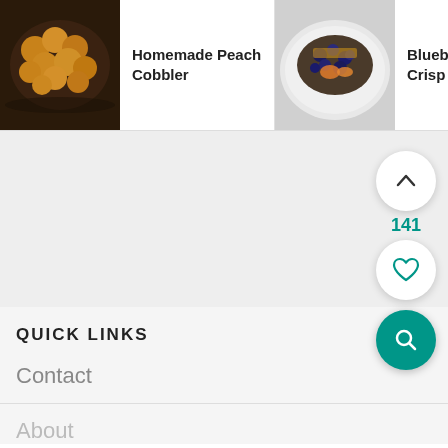[Figure (screenshot): Recipe carousel strip showing: Homemade Peach Cobbler (dark skillet photo), Blueberry Peach Crisp (Gluten-... (dark plate photo), Fresh Apple Cobbler (partial image with next arrow and teal search icon)]
[Figure (screenshot): Gray content area with floating UI buttons: up-chevron circle button, 141 count in teal, heart outline circle button, teal filled search magnifier circle button]
QUICK LINKS
Contact
About